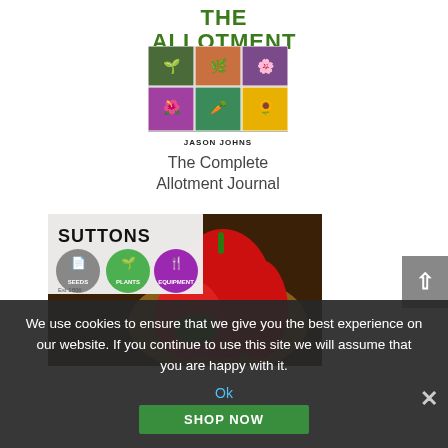THE ALLOTMENT JOURNAL
[Figure (photo): Book cover image for The Complete Allotment Journal by Jason Johns showing garden/allotment photos in a grid collage]
JASON JOHNS
The Complete Allotment Journal
[Figure (photo): Suttons seeds, plants and equipment advertisement showing logo with three circles (Seeds, Plants, Equipment) overlaid on a photo of red peppers/capsicums in a basket on a wooden surface]
We use cookies to ensure that we give you the best experience on our website. If you continue to use this site we will assume that you are happy with it.
Ok
SHOP NOW